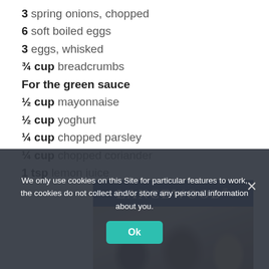3 spring onions, chopped
6 soft boiled eggs
3 eggs, whisked
¾ cup breadcrumbs
For the green sauce
½ cup mayonnaise
½ cup yoghurt
¼ cup chopped parsley
¼ cup chopped coriander
1 tsp lemon juice
[Figure (photo): Lancewood brand advertisement showing a dark navy banner with LANCEWOOD® logo and a photo of people below it]
We only use cookies on this Site for particular features to work, the cookies do not collect and/or store any personal information about you.